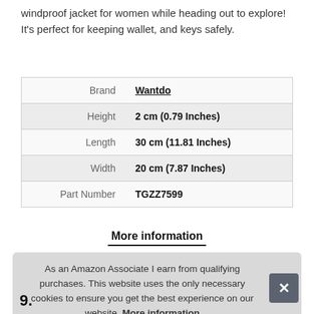windproof jacket for women while heading out to explore! It's perfect for keeping wallet, and keys safely.
|  |  |
| --- | --- |
| Brand | Wantdo |
| Height | 2 cm (0.79 Inches) |
| Length | 30 cm (11.81 Inches) |
| Width | 20 cm (7.87 Inches) |
| Part Number | TGZZ7599 |
More information
As an Amazon Associate I earn from qualifying purchases. This website uses the only necessary cookies to ensure you get the best experience on our website. More information
9.